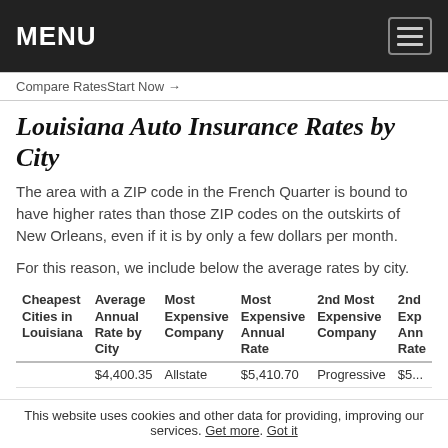MENU
Compare RatesStart Now →
Louisiana Auto Insurance Rates by City
The area with a ZIP code in the French Quarter is bound to have higher rates than those ZIP codes on the outskirts of New Orleans, even if it is by only a few dollars per month.
For this reason, we include below the average rates by city.
| Cheapest Cities in Louisiana | Average Annual Rate by City | Most Expensive Company | Most Expensive Annual Rate | 2nd Most Expensive Company | 2nd Exp Ann Rate |
| --- | --- | --- | --- | --- | --- |
|  | $4,400.35 | Allstate | $5,410.70 | Progressive | $5... |
This website uses cookies and other data for providing, improving our services. Get more. Got it